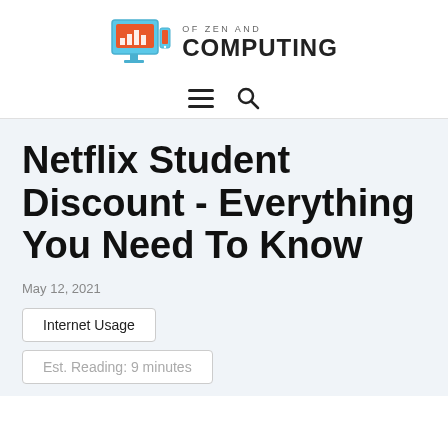[Figure (logo): Of Zen and Computing logo — monitor icon with bar chart on screen and a smartphone, with text 'OF ZEN AND COMPUTING']
≡  🔍
Netflix Student Discount - Everything You Need To Know
May 12, 2021
Internet Usage
Est. Reading: 9 minutes